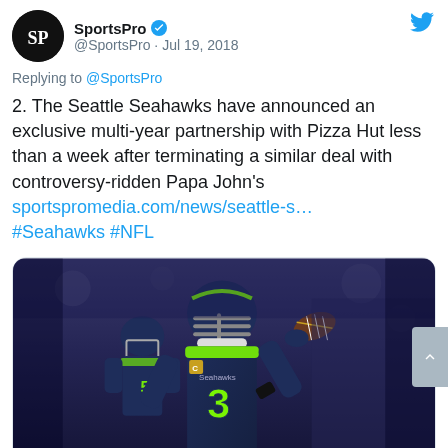SportsPro @SportsPro · Jul 19, 2018
Replying to @SportsPro
2. The Seattle Seahawks have announced an exclusive multi-year partnership with Pizza Hut less than a week after terminating a similar deal with controversy-ridden Papa John's sportspromedia.com/news/seattle-s… #Seahawks #NFL
[Figure (photo): Seattle Seahawks quarterback wearing number 3 jersey in navy blue and neon green, in throwing stance holding a football, with another player visible behind him in a stadium setting]
Seattle Seahawks
1 (reply count) (heart/like icon)